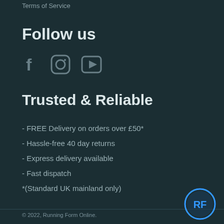Terms of Service
Follow us
[Figure (infographic): Social media icons: Facebook (f), Instagram (camera), YouTube (play button)]
Trusted & Reliable
- FREE Delivery on orders over £50*
- Hassle-free 40 day returns
- Express delivery available
- Fast dispatch
*(Standard UK mainland only)
© 2022, Running Form Online.
[Figure (infographic): Payment method icons: Apple Pay, Diners Club, Discover, Google Pay, Maestro, Mastercard, PayPal, Visa]
[Figure (logo): Running Form Online circular logo with RF initials in blue]